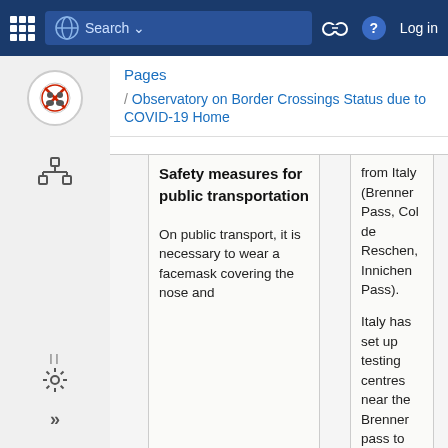Search | Log in
Pages
/ Observatory on Border Crossings Status due to COVID-19 Home
|  | Safety measures for public transportation |  | from Italy (Brenner Pass, Col de Reschen, Innichen Pass). Italy has set up testing centres near the Brenner pass to ease the queues. Source: Confetra |  |
| --- | --- | --- | --- | --- |
|  | On public transport, it is necessary to wear a facemask covering the nose and |  |  |  |
On public transport, it is necessary to wear a facemask covering the nose and
from Italy (Brenner Pass, Col de Reschen, Innichen Pass).

Italy has set up testing centres near the Brenner pass to ease the queues.

Source: Confetra